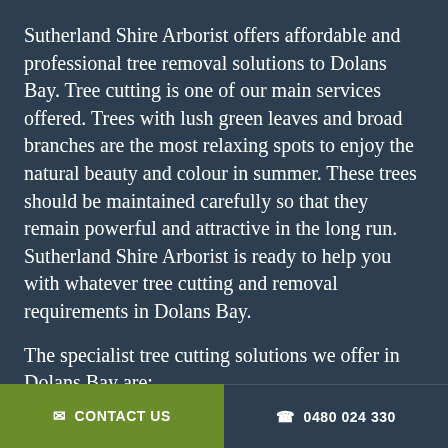Sutherland Shire Arborist offers affordable and professional tree removal solutions to Dolans Bay. Tree cutting is one of our main services offered. Trees with lush green leaves and broad branches are the most relaxing spots to enjoy the natural beauty and colour in summer. These trees should be maintained carefully so that they remain powerful and attractive in the long run. Sutherland Shire Arborist is ready to help you with whatever tree cutting and removal requirements in Dolans Bay.
The specialist tree cutting solutions we offer in Dolans Bay are:
Be sure tree branches are not ...
✉ CONTACT US   ☎ 0480 024 330